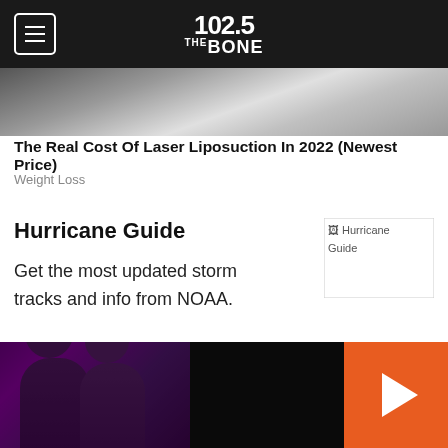102.5 THE BONE
[Figure (photo): Cropped advertisement image showing partial view of a light-colored vehicle interior or exterior]
The Real Cost Of Laser Liposuction In 2022 (Newest Price)
Weight Loss
Hurricane Guide
Get the most updated storm tracks and info from NOAA.
[Figure (illustration): Hurricane Guide image placeholder (broken/loading image)]
Opening Day with Pitbull
[Figure (photo): Thumbnail image for Opening Day with Pitbull article, showing orange/dark tones with PITBULL text visible]
[Figure (photo): Media player bar showing two people in dark jackets against purple/dark background, with orange play button on right]